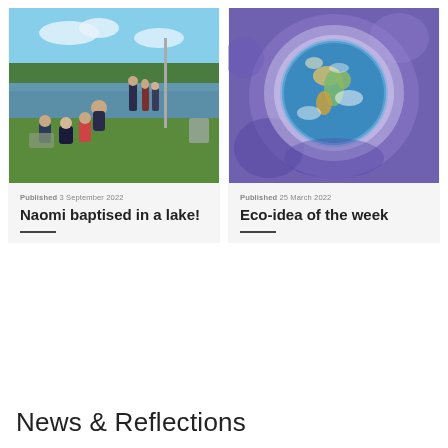[Figure (photo): Outdoor baptism scene at a lake with a group of people standing and sitting on the grass, with water visible in the background and blue sky with trees.]
Published 3 September 2022
Naomi baptised in a lake!
[Figure (photo): Watercolor painting of planet Earth shown from space, with a purple/blue background glowing around the globe, showing Europe and Africa prominently.]
Published 25 March 2022
Eco-idea of the week
News & Reflections